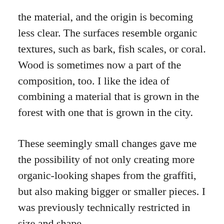the material, and the origin is becoming less clear. The surfaces resemble organic textures, such as bark, fish scales, or coral. Wood is sometimes now a part of the composition, too. I like the idea of combining a material that is grown in the forest with one that is grown in the city.
These seemingly small changes gave me the possibility of not only creating more organic-looking shapes from the graffiti, but also making bigger or smaller pieces. I was previously technically restricted in size and shape.